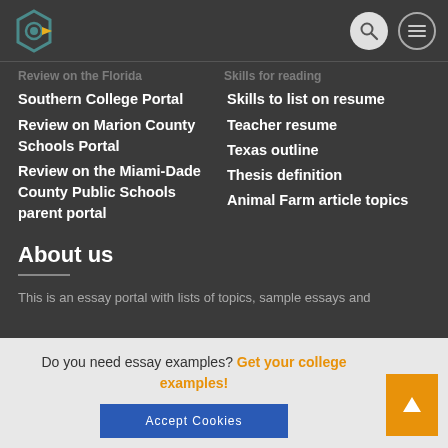Essay portal header with logo, search, and menu icons
Southern College Portal
Review on Marion County Schools Portal
Review on the Miami-Dade County Public Schools parent portal
Skills to list on resume
Teacher resume
Texas outline
Thesis definition
Animal Farm article topics
About us
This is an essay portal with lists of topics, sample essays and
Do you need essay examples? Get your college examples!
Accept Cookies